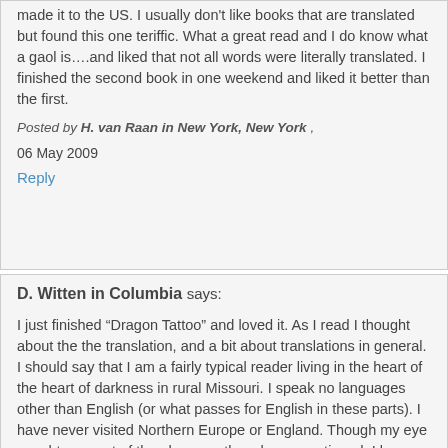made it to the US. I usually don't like books that are translated but found this one teriffic. What a great read and I do know what a gaol is….and liked that not all words were literally translated. I finished the second book in one weekend and liked it better than the first.
Posted by H. van Raan in New York, New York ,
06 May 2009
Reply
D. Witten in Columbia says:
I just finished “Dragon Tattoo” and loved it. As I read I thought about the the translation, and a bit about translations in general. I should say that I am a fairly typical reader living in the heart of the heart of darkness in rural Missouri. I speak no languages other than English (or what passes for English in these parts). I have never visited Northern Europe or England. Though my eye caught on most of the phrases others have mentioned, I knew perfectly well what a gaol is and could make a comfortable guess at most everything else. The Kindle’s dictionary is handy,